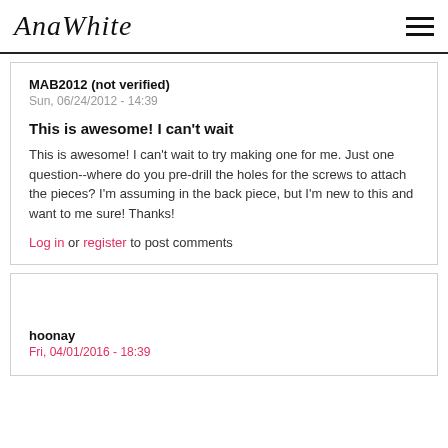AnaWhite
MAB2012 (not verified)
Sun, 06/24/2012 - 14:39
This is awesome! I can't wait
This is awesome! I can't wait to try making one for me. Just one question--where do you pre-drill the holes for the screws to attach the pieces? I'm assuming in the back piece, but I'm new to this and want to me sure! Thanks!
Log in or register to post comments
hoonay
Fri, 04/01/2016 - 18:39